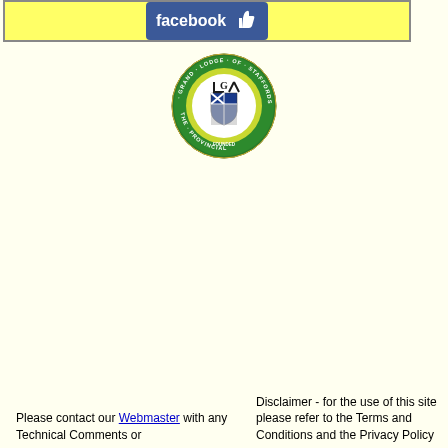[Figure (screenshot): Facebook like button banner with yellow background and blue Facebook logo with thumbs up icon]
[Figure (logo): Circular logo of The Provincial Grand Lodge of Staffordshire, green and blue with Masonic symbols and heraldic shield]
Please contact our Webmaster with any Technical Comments or
Disclaimer - for the use of this site please refer to the Terms and Conditions and the Privacy Policy